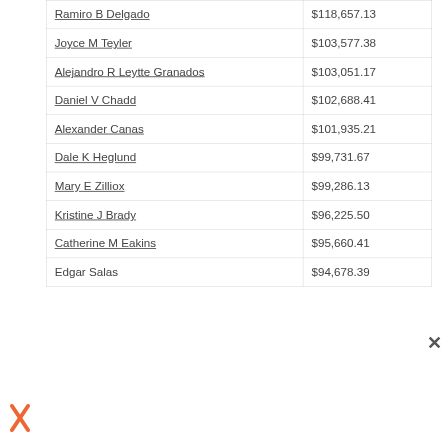| Name | Amount |
| --- | --- |
| Ramiro B Delgado | $118,657.13 |
| Joyce M Teyler | $103,577.38 |
| Alejandro R Leytte Granados | $103,051.17 |
| Daniel V Chadd | $102,688.41 |
| Alexander Canas | $101,935.21 |
| Dale K Heglund | $99,731.67 |
| Mary E Zilliox | $99,286.13 |
| Kristine J Brady | $96,225.50 |
| Catherine M Eakins | $95,660.41 |
| Edgar Salas | $94,678.39 |